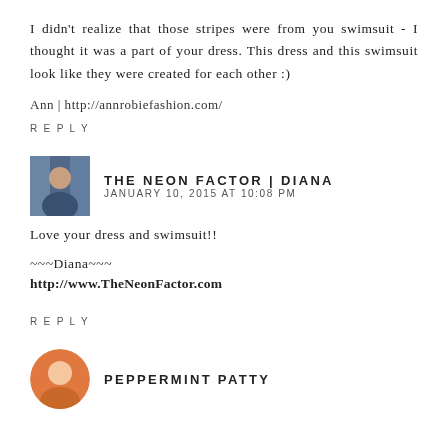I didn't realize that those stripes were from you swimsuit - I thought it was a part of your dress. This dress and this swimsuit look like they were created for each other :)
Ann | http://annrobiefashion.com/
REPLY
THE NEON FACTOR | DIANA
JANUARY 10, 2015 AT 10:08 PM
Love your dress and swimsuit!!
~~~Diana~~~
http://www.TheNeonFactor.com
REPLY
PEPPERMINT PATTY